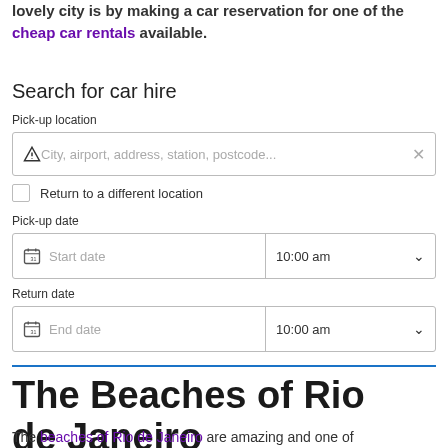lovely city is by making a car reservation for one of the cheap car rentals available.
Search for car hire
Pick-up location
[Figure (screenshot): Pick-up location input field with warning icon and placeholder text: City, airport, address, station, postcode... with a clear X button]
Return to a different location (checkbox)
Pick-up date
[Figure (screenshot): Date/time picker row with calendar icon, Start date placeholder, and 10:00 am time dropdown]
Return date
[Figure (screenshot): Date/time picker row with calendar icon, End date placeholder, and 10:00 am time dropdown]
The Beaches of Rio de Janeiro
The beaches of Rio de Janeiro are amazing and one of